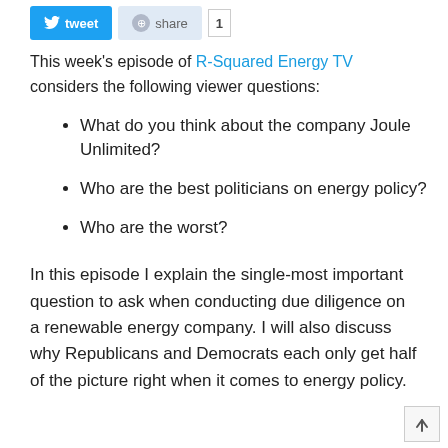[Figure (other): Tweet button, Share button, and count box (social sharing bar)]
This week's episode of R-Squared Energy TV considers the following viewer questions:
What do you think about the company Joule Unlimited?
Who are the best politicians on energy policy?
Who are the worst?
In this episode I explain the single-most important question to ask when conducting due diligence on a renewable energy company. I will also discuss why Republicans and Democrats each only get half of the picture right when it comes to energy policy.